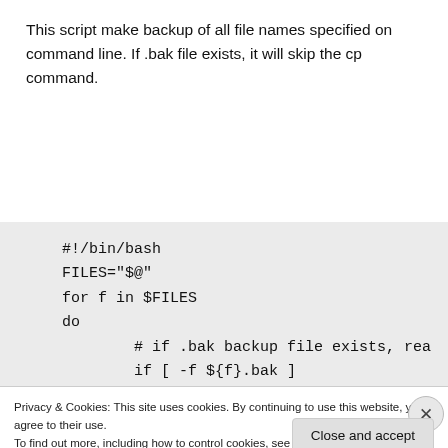This script make backup of all file names specified on command line. If .bak file exists, it will skip the cp command.
#!/bin/bash
FILES="$@"
for f in $FILES
do
        # if .bak backup file exists, rea
        if [ -f ${f}.bak ]
        then
Privacy & Cookies: This site uses cookies. By continuing to use this website, you agree to their use.
To find out more, including how to control cookies, see here: Cookie Policy
Close and accept